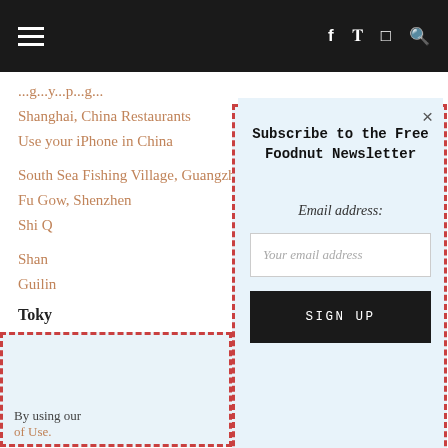Navigation bar with hamburger menu and social icons (Facebook, Twitter, Instagram, Search)
Shanghai, China Restaurants
Use your iPhone in China
South Sea Fishing Village, Guangzhou
Fu Gow, Shenzhen
Shi Q...
Shan...
Guilin...
Tokyo...
Dons...
Ryug...
Sushi...
By using our... of Use.
[Figure (screenshot): Newsletter subscription popup modal with dashed red border. Contains title 'Subscribe to the Free Foodnut Newsletter', Email address label, input field with placeholder 'Your email address', and a SIGN UP button. Close (×) button in top right. Background is light blue.]